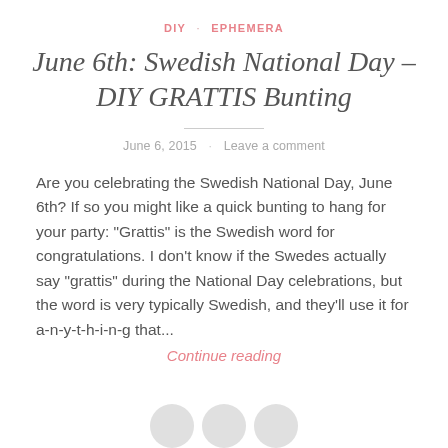DIY · EPHEMERA
June 6th: Swedish National Day – DIY GRATTIS Bunting
June 6, 2015  ·  Leave a comment
Are you celebrating the Swedish National Day, June 6th? If so you might like a quick bunting to hang for your party: "Grattis" is the Swedish word for congratulations. I don't know if the Swedes actually say "grattis" during the National Day celebrations, but the word is very typically Swedish, and they'll use it for a-n-y-t-h-i-n-g that...
Continue reading